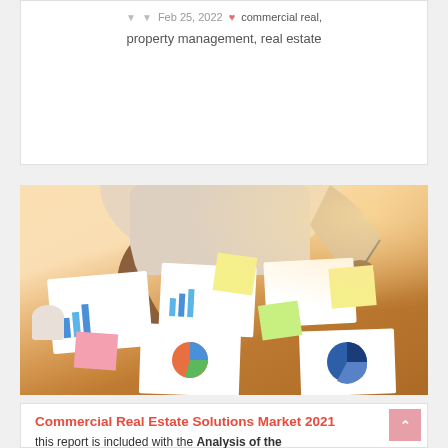Feb 25, 2022 ♥ commercial real, property management, real estate
[Figure (photo): Person reviewing business charts and reports spread on a wooden table, with sticky notes and pie charts visible]
Commercial Real Estate Solutions Market 2021
this report is included with the Analysis of the